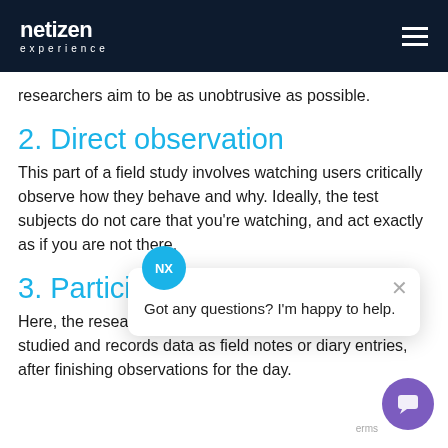netizen experience
researchers aim to be as unobtrusive as possible.
2. Direct observation
This part of a field study involves watching users critically observe how they behave and why. Ideally, the test subjects do not care that you're watching, and act exactly as if you are not there.
3. Participa
Here, the researcher can join the group of people being studied and records data as field notes or diary entries, after finishing observations for the day.